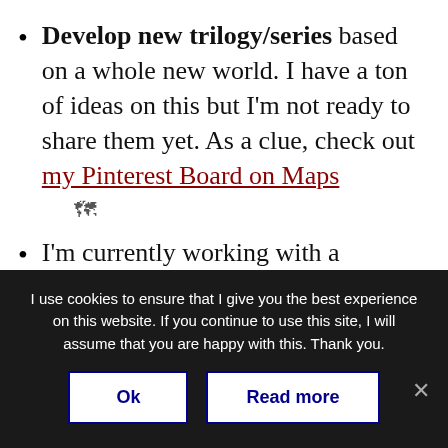Develop new trilogy/series based on a whole new world. I have a ton of ideas on this but I'm not ready to share them yet. As a clue, check out my Pinterest Board on Maps 🗺
I'm currently working with a screenwriter on a treatment and a pilot for the London Psychic books, so the goal will be to sell that to a TV studio.
I use cookies to ensure that I give you the best experience on this website. If you continue to use this site, I will assume that you are happy with this. Thank you.